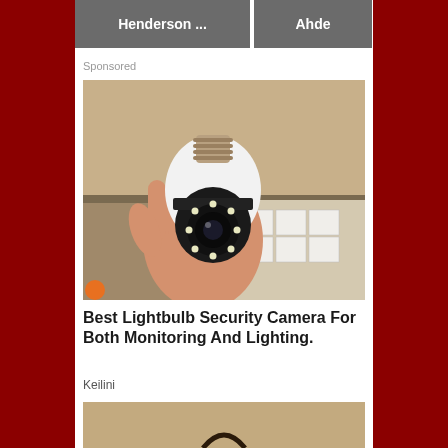[Figure (screenshot): Top navigation bar with two dark gray buttons: 'Henderson ...' and 'Ahde']
Sponsored
[Figure (photo): A hand holding a white lightbulb-shaped security camera with a black camera lens and LED ring, in front of cardboard boxes]
Best Lightbulb Security Camera For Both Monitoring And Lighting.
Keilini
[Figure (photo): Partial view of a second advertisement image at the bottom, showing a tan/beige textured background]